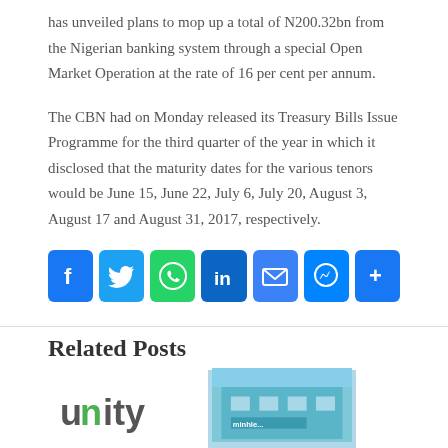has unveiled plans to mop up a total of N200.32bn from the Nigerian banking system through a special Open Market Operation at the rate of 16 per cent per annum.
The CBN had on Monday released its Treasury Bills Issue Programme for the third quarter of the year in which it disclosed that the maturity dates for the various tenors would be June 15, June 22, July 6, July 20, August 3, August 17 and August 31, 2017, respectively.
[Figure (infographic): Social media sharing buttons: Facebook, Twitter, WhatsApp, LinkedIn, Email, Messenger, Share]
Related Posts
[Figure (logo): Unity bank logo showing the word 'unity' with stylized letters]
[Figure (photo): Exterior photo of a bank building with blue signage]